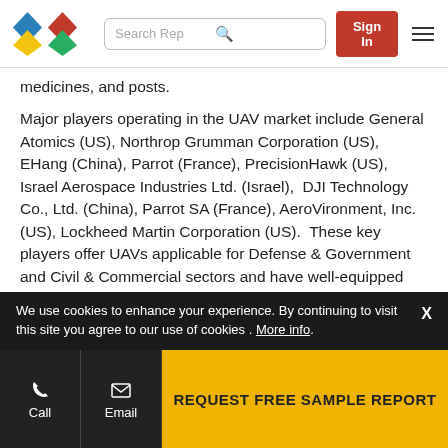Search Rep | Sign In
medicines, and posts.
Major players operating in the UAV market include General Atomics (US), Northrop Grumman Corporation (US), EHang (China), Parrot (France), PrecisionHawk (US), Israel Aerospace Industries Ltd. (Israel), DJI Technology Co., Ltd. (China), Parrot SA (France), AeroVironment, Inc. (US), Lockheed Martin Corporation (US). These key players offer UAVs applicable for Defense & Government and Civil & Commercial sectors and have well-equipped and strong distribution networks across North America, Europe, Asia Pacific, and the Middle East, Latin America, and Africa.
We use cookies to enhance your experience. By continuing to visit this site you agree to our use of cookies . More info. | REQUEST FREE SAMPLE REPORT